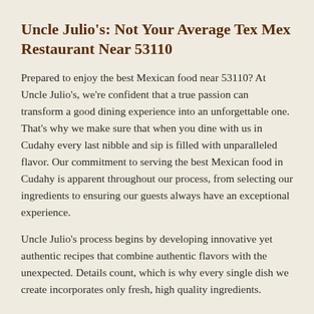Uncle Julio's: Not Your Average Tex Mex Restaurant Near 53110
Prepared to enjoy the best Mexican food near 53110? At Uncle Julio's, we're confident that a true passion can transform a good dining experience into an unforgettable one. That's why we make sure that when you dine with us in Cudahy every last nibble and sip is filled with unparalleled flavor. Our commitment to serving the best Mexican food in Cudahy is apparent throughout our process, from selecting our ingredients to ensuring our guests always have an exceptional experience.
Uncle Julio's process begins by developing innovative yet authentic recipes that combine authentic flavors with the unexpected. Details count, which is why every single dish we create incorporates only fresh, high quality ingredients.